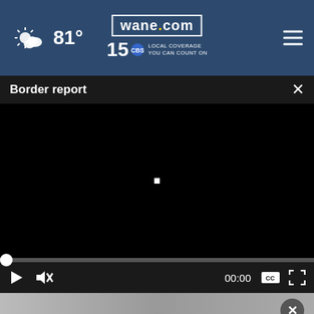81° wane.com 15 LOCAL COVERAGE YOU CAN COUNT ON
Border report
[Figure (screenshot): Black video player area with a small white square cursor in the center, video paused at 00:00]
[Figure (infographic): Advertisement: Free Company in Dubai UAE — Free UAE Company +Bank Account — Open button]